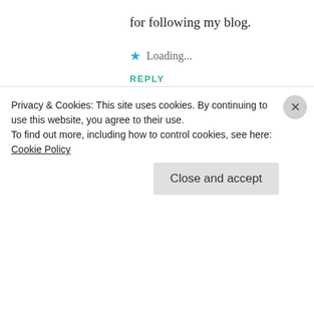for following my blog.
Loading...
REPLY
cheriewhite
MARCH 4, 2022 AT 8:59 PM
You're very welcome. 🙂 And thank you for your kind words.
Privacy & Cookies: This site uses cookies. By continuing to use this website, you agree to their use.
To find out more, including how to control cookies, see here: Cookie Policy
Close and accept